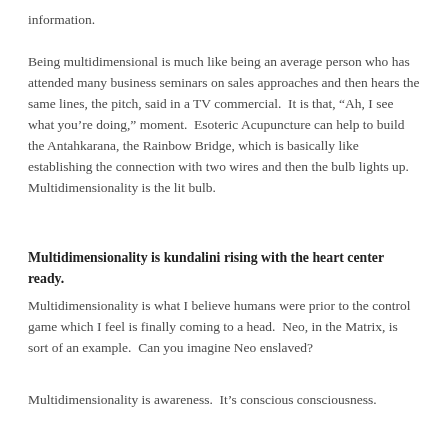information.
Being multidimensional is much like being an average person who has attended many business seminars on sales approaches and then hears the same lines, the pitch, said in a TV commercial.  It is that, “Ah, I see what you’re doing,” moment.  Esoteric Acupuncture can help to build the Antahkarana, the Rainbow Bridge, which is basically like establishing the connection with two wires and then the bulb lights up.  Multidimensionality is the lit bulb.
Multidimensionality is kundalini rising with the heart center ready.
Multidimensionality is what I believe humans were prior to the control game which I feel is finally coming to a head.  Neo, in the Matrix, is sort of an example.  Can you imagine Neo enslaved?
Multidimensionality is awareness.  It’s conscious consciousness.